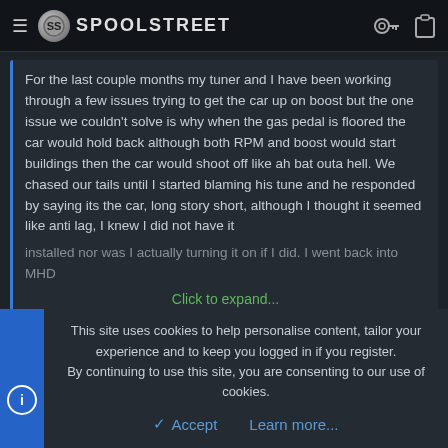SPOOLSTREET
For the last couple months my tuner and I have been working through a few issues trying to get the car up on boost but the one issue we couldn't solve is why when the gas pedal is floored the car would hold back although both RPM and boost would start buildings then the car would shoot off like ah bat outa hell. We chased our tails until I started blaming his tune and he responded by saying its the car, long story short, although I thought it seemed like anti lag, I knew I did not have it installed nor was I actually turning it on if I did. I went back into MHD...
Click to expand...
You owe your tuner an apology.
0
This site uses cookies to help personalise content, tailor your experience and to keep you logged in if you register.
By continuing to use this site, you are consenting to our use of cookies.
Accept
Learn more...